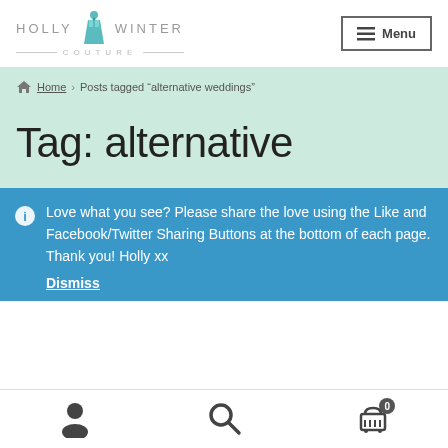[Figure (logo): Holly Winter Couture logo with teal dress figure between the words HOLLY and WINTER, with COUTURE below]
≡ Menu
Home > Posts tagged "alternative weddings"
Tag: alternative
Love what you see? Please share the love using the Like and Facebook/Twitter Sharing Buttons at the bottom of each page. Thank you! Holly xx
Dismiss
[Figure (infographic): Bottom toolbar with user icon, search icon, and shopping cart with 0 badge]